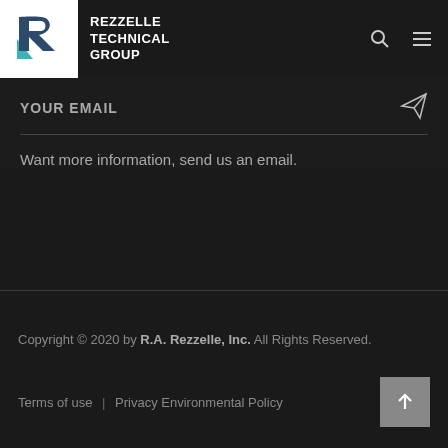[Figure (logo): Rezzelle Technical Group logo with stylized R in teal and dark blue on white background, with company name in white text]
YOUR EMAIL
Want more information, send us an email.
Copyright © 2020 by R.A. Rezzelle, Inc. All Rights Reserved. Terms of use | Privacy Environmental Policy